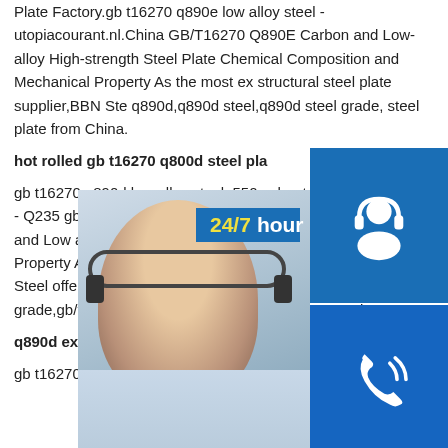Plate Factory.gb t16270 q890e low alloy steel - utopiacourant.nl.China GB/T16270 Q890E Carbon and Low-alloy High-strength Steel Plate Chemical Composition and Mechanical Property As the most ex structural steel plate supplier,BBN Ste q890d,q890d steel,q890d steel grade, steel plate from China.
hot rolled gb t16270 q800d steel pla
gb t16270 q890d low alloy steelq550e sheet - Hot Rolled Steel - Q235 gb t16 alloy steel utopiacourant.nl.China GB/ Carbon and Low alloy High strength S Composition and Mechanical Property As the most expert structural steel plate supplier,BBN Steel offer customers q890d,q890d steel,q890d steel grade,gb/t 16270 q890d steel plate from China.Read More
q890d exporter - Carbon low alloy Steel Supplier
gb t16270 q890d steel exporter gb t16270 q460e steel
[Figure (screenshot): Customer service widget overlay with: a photo of a smiling customer service representative (woman with headset), a '24/7 hour' label in yellow and white on blue, three icon buttons (headset/customer icon, phone/call icon, Skype 'S' icon) on blue background, and a 'Click to chat' bar at the bottom in blue.]